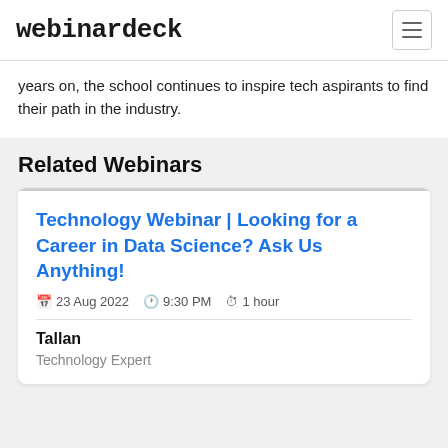webinardeck
years on, the school continues to inspire tech aspirants to find their path in the industry.
Related Webinars
Technology Webinar | Looking for a Career in Data Science? Ask Us Anything!
23 Aug 2022  9:30 PM  1 hour
Tallan
Technology Expert